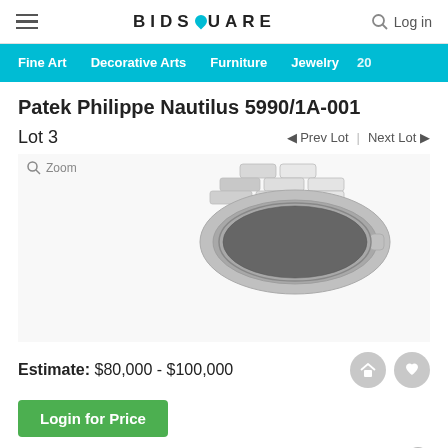BIDSQUARE  Log in
Fine Art  Decorative Arts  Furniture  Jewelry  20
Patek Philippe Nautilus 5990/1A-001
Lot 3
Prev Lot | Next Lot
[Figure (photo): Partial view of a Patek Philippe Nautilus 5990/1A-001 stainless steel watch bracelet and case, photographed from above at an angle showing the integrated bracelet links and watch crown area.]
Estimate:  $80,000 - $100,000
Login for Price
Absentee vs Live bid  ?